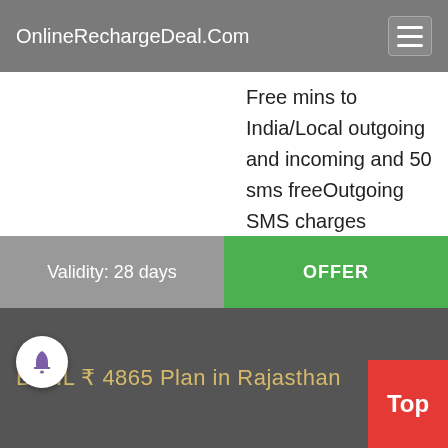OnlineRechargeDeal.Com
Free mins to India/Local outgoing and incoming and 50 sms freeOutgoing SMS charges beyond free SMs @ Rs39/SMS/-Call back to India (Rs/Min) :-Rs156/min-Outgoing Local Call (Rs/Min) :-Rs52/min-Outgoing International (Rs/Min) :-Rs52/min-Incoming call (Rs/Min) :-Rs11/min-Outgoing SMS (Rs/SMS) :-Rs39/SMS
Validity: 28 days
OFFER
BSNL ₹ 4865 Plan in Rajasthan
Top